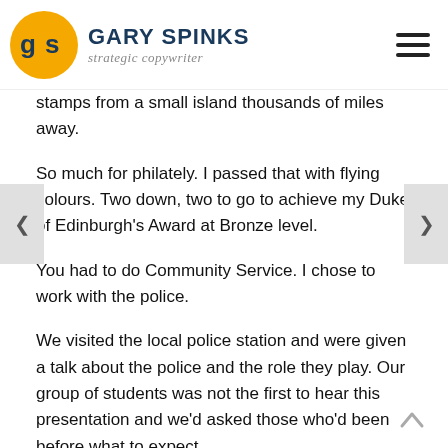GARY SPINKS strategic copywriter
stamps from a small island thousands of miles away.
So much for philately. I passed that with flying colours. Two down, two to go to achieve my Duke of Edinburgh's Award at Bronze level.
You had to do Community Service. I chose to work with the police.
We visited the local police station and were given a talk about the police and the role they play. Our group of students was not the first to hear this presentation and we'd asked those who'd been before what to expect.
So, the surprise the police officers sprung on us